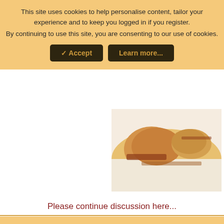This site uses cookies to help personalise content, tailor your experience and to keep you logged in if you register. By continuing to use this site, you are consenting to our use of cookies.
✓ Accept   Learn more...
[Figure (photo): Close-up photo of food, appears to be a sandwich or pastry with sauce on a white plate]
Please continue discussion here...
atthelake
Former Member
Jul 29, 2015
#4